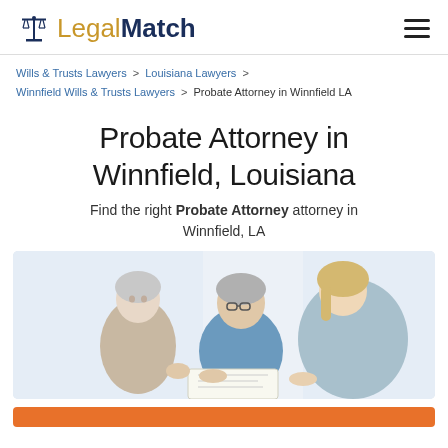LegalMatch
Wills & Trusts Lawyers > Louisiana Lawyers > Winnfield Wills & Trusts Lawyers > Probate Attorney in Winnfield LA
Probate Attorney in Winnfield, Louisiana
Find the right Probate Attorney attorney in Winnfield, LA
[Figure (photo): An elderly couple sitting and consulting with a female attorney or advisor, reviewing documents together in a light-colored room.]
CTA button (orange) partially visible at bottom